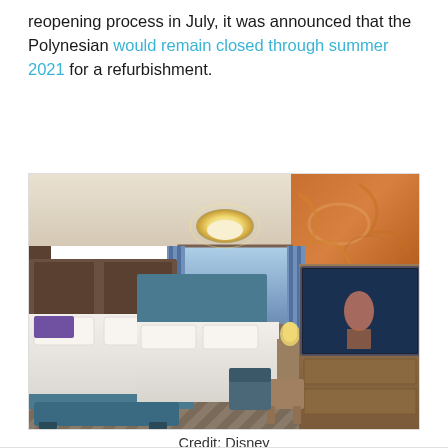reopening process in July, it was announced that the Polynesian would remain closed through summer 2021 for a refurbishment.
[Figure (photo): Interior of a refurbished Disney Polynesian resort hotel room showing two queen beds with white linens and teal headboards, chevron patterned wood floor, a large Moana mural on the right wall, a balcony window in the center background showing a lake view, a TV mounted on a wooden dresser on the right, decorative ceiling light fixture, and a teal bench at the foot of the left bed.]
Credit: Disney